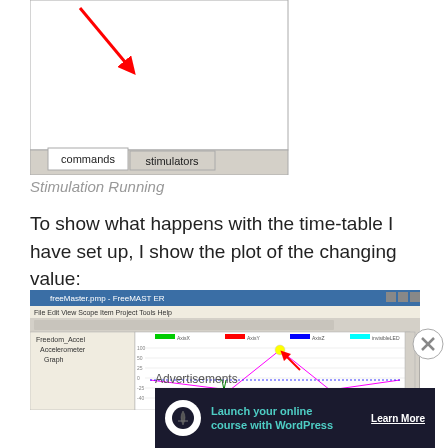[Figure (screenshot): Screenshot showing a UI panel with a white canvas area and two tabs at the bottom: 'commands' and 'stimulators'. A red arrow/pointer is visible in the upper-left of the canvas.]
Stimulation Running
To show what happens with the time-table I have set up, I show the plot of the changing value:
[Figure (screenshot): Screenshot of FreeMASTER application showing a graph with colored lines (AxisX green, AxisY red, AxisZ blue, invisibleLED cyan, stimulationValue magenta) and a red arrow pointing to a yellow peak in the graph.]
Advertisements
[Figure (other): Advertisement banner: 'Launch your online course with WordPress' with a Learn More button, dark background with teal text and tree icon.]